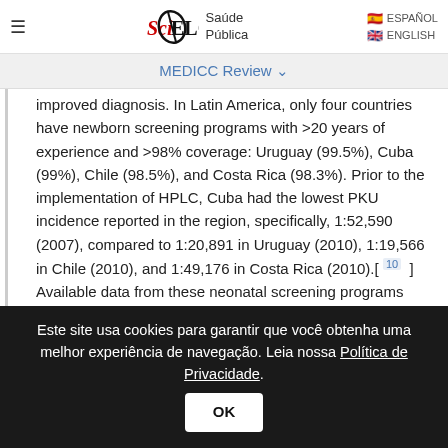SciELO Saúde Pública — ESPAÑOL | ENGLISH
MEDICC Review ∨
improved diagnosis. In Latin America, only four countries have newborn screening programs with >20 years of experience and >98% coverage: Uruguay (99.5%), Cuba (99%), Chile (98.5%), and Costa Rica (98.3%). Prior to the implementation of HPLC, Cuba had the lowest PKU incidence reported in the region, specifically, 1:52,590 (2007), compared to 1:20,891 in Uruguay (2010), 1:19,566 in Chile (2010), and 1:49,176 in Costa Rica (2010).[ 10 ] Available data from these neonatal screening programs show the average
Este site usa cookies para garantir que você obtenha uma melhor experiência de navegação. Leia nossa Política de Privacidade. OK